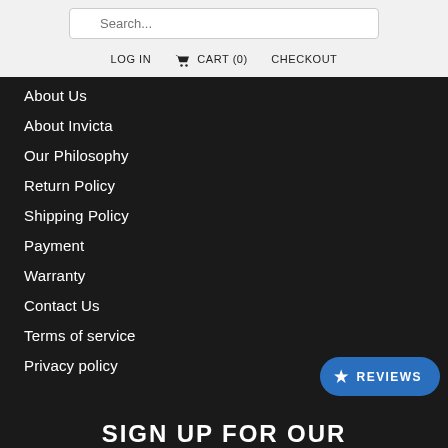Search...
LOG IN   CART (0)   CHECKOUT
About Us
About Invicta
Our Philosophy
Return Policy
Shipping Policy
Payment
Warranty
Contact Us
Terms of service
Privacy policy
SIGN UP FOR OUR